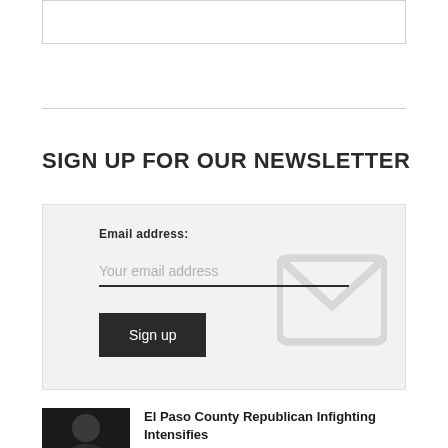SIGN UP FOR OUR NEWSLETTER
Email address: Your email address
Sign up
El Paso County Republican Infighting Intensifies